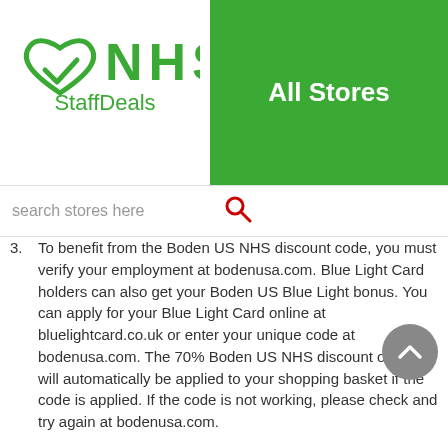[Figure (logo): NHS Staff Deals logo with green heart/checkmark icon and green NHS StaffDeals text]
All Stores
search stores here
3. To benefit from the Boden US NHS discount code, you must verify your employment at bodenusa.com. Blue Light Card holders can also get your Boden US Blue Light bonus. You can apply for your Blue Light Card online at bluelightcard.co.uk or enter your unique code at bodenusa.com. The 70% Boden US NHS discount or offer will automatically be applied to your shopping basket if the code is applied. If the code is not working, please check and try again at bodenusa.com.
4. Boden US free delivery code may be working. But it has terms and conditions.
5. Boden US free trial offer is available for 7-30 days.
6. Is Boden US referral offer still valid? If yes, refer a friend